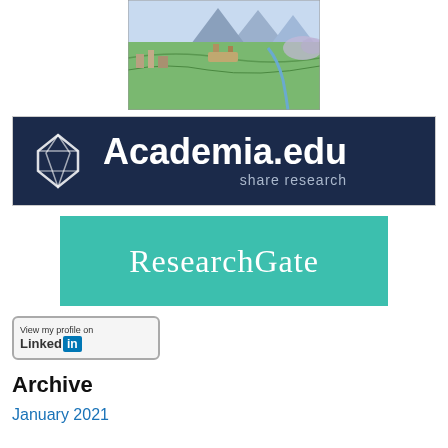[Figure (illustration): Fantasy landscape illustration showing a bird's-eye view of ancient ruins, mountains, and green valleys in a painterly style]
[Figure (logo): Academia.edu banner with dark navy background, white diamond/gem icon on left, and 'Academia.edu share research' text in white]
[Figure (logo): ResearchGate banner with teal/turquoise background and 'ResearchGate' text in white serif font]
[Figure (logo): LinkedIn 'View my profile on LinkedIn' badge with blue 'in' box]
Archive
January 2021